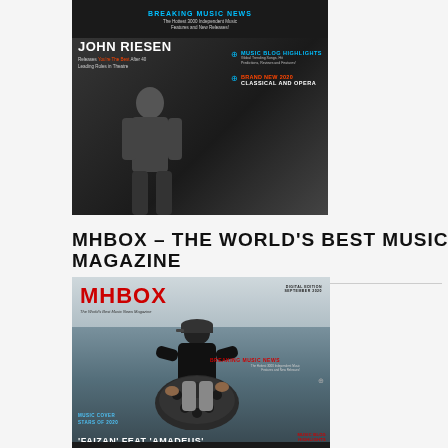[Figure (photo): Music magazine cover top portion showing John Riesen, with sections for Breaking Music News, Music Blog Highlights, and Brand New 2020 Classical and Opera on a dark background]
MHBOX – THE WORLD'S BEST MUSIC MAGAZINE
[Figure (photo): MHBOX digital edition September 2020 magazine cover featuring a man in a black cap and t-shirt playing a hang drum on a beach, with text: Music Cover Stars of 2020, Breaking Music News, 'Faizan' feat 'Amadeus', Brand New 2020 Classical and Opera]